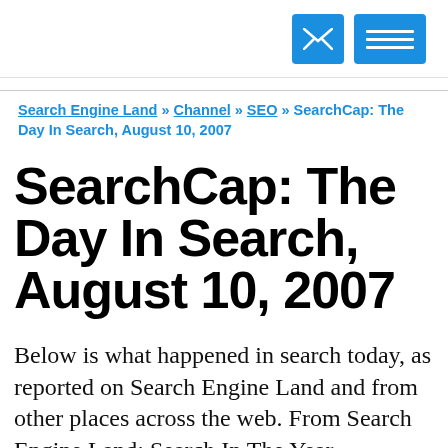[email icon] [menu icon]
Search Engine Land » Channel » SEO » SearchCap: The Day In Search, August 10, 2007
SearchCap: The Day In Search, August 10, 2007
Below is what happened in search today, as reported on Search Engine Land and from other places across the web. From Search Engine Land: Search In The Year